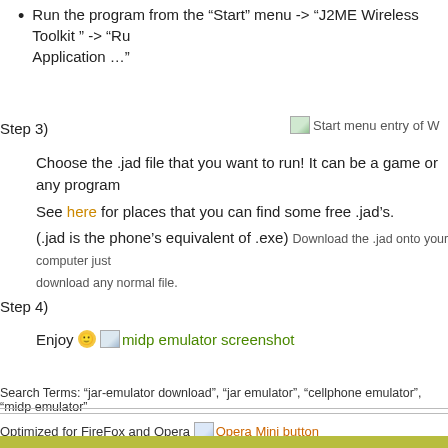Run the program from the “Start” menu -> “J2ME Wireless Toolkit ” -> “Run Application …”
Step 3)
[Figure (screenshot): Start menu entry of WTK screenshot thumbnail]
Choose the .jad file that you want to run! It can be a game or any program. See here for places that you can find some free .jad’s. (.jad is the phone’s equivalent of .exe) Download the .jad onto your computer just download any normal file.
Step 4)
Enjoy 🙂
[Figure (screenshot): midp emulator screenshot thumbnail]
Search Terms: “jar-emulator download”, “jar emulator”, “cellphone emulator”, “midp emulator”
Optimized for FireFox and Opera
[Figure (logo): Opera Mini button image]
[Figure (logo): Google logo]
Web  w